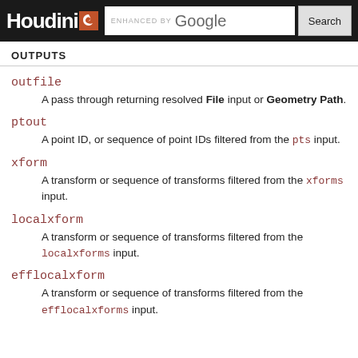Houdini - ENHANCED BY Google [Search]
OUTPUTS
outfile
A pass through returning resolved File input or Geometry Path.
ptout
A point ID, or sequence of point IDs filtered from the pts input.
xform
A transform or sequence of transforms filtered from the xforms input.
localxform
A transform or sequence of transforms filtered from the localxforms input.
efflocalxform
A transform or sequence of transforms filtered from the efflocalxforms input.